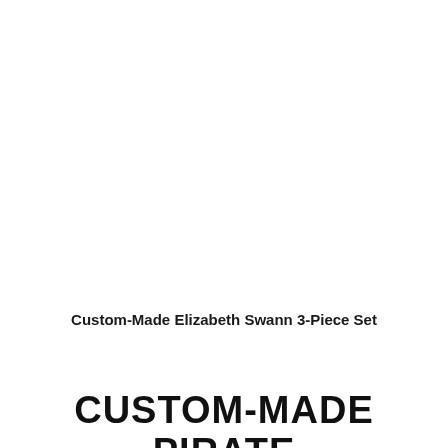Custom-Made Elizabeth Swann 3-Piece Set
CUSTOM-MADE PIRATE